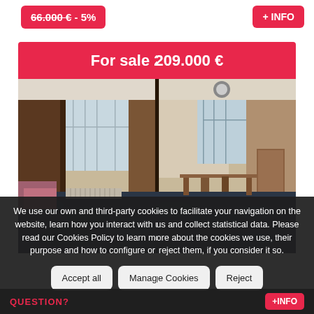66.000 € - 5%
+ INFO
For sale 209.000 €
[Figure (photo): Interior photo of a room with dark wood paneling, large windows, marble-patterned dark floor, table and chairs visible, sofa on left side.]
We use our own and third-party cookies to facilitate your navigation on the website, learn how you interact with us and collect statistical data. Please read our Cookies Policy to learn more about the cookies we use, their purpose and how to configure or reject them, if you consider it so.
Accept all
Manage Cookies
Reject
QUESTION?
+INFO